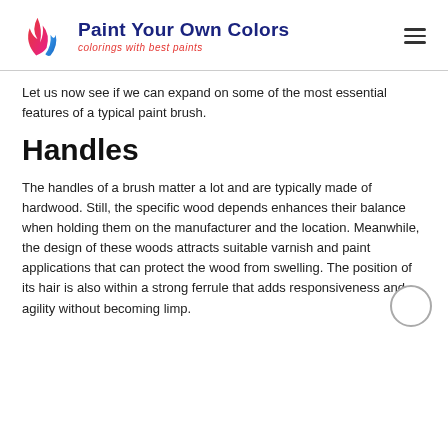Paint Your Own Colors — colorings with best paints
Let us now see if we can expand on some of the most essential features of a typical paint brush.
Handles
The handles of a brush matter a lot and are typically made of hardwood. Still, the specific wood depends enhances their balance when holding them on the manufacturer and the location. Meanwhile, the design of these woods attracts suitable varnish and paint applications that can protect the wood from swelling. The position of its hair is also within a strong ferrule that adds responsiveness and agility without becoming limp.